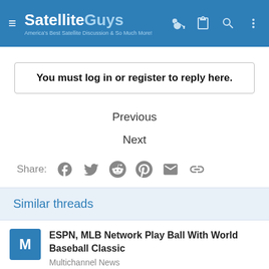SatelliteGuys — America's Best Satellite Discussion & So Much More!
You must log in or register to reply here.
Previous
Next
Similar threads
ESPN, MLB Network Play Ball With World Baseball Classic
Multichannel News
0 · Multichannel News replied Oct 7, 2008